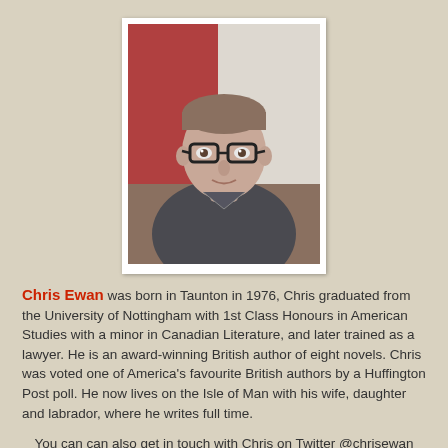[Figure (photo): Headshot photo of Chris Ewan, a man with short hair and glasses, wearing a grey jacket, posed in a three-quarter view against a reddish background.]
Chris Ewan was born in Taunton in 1976, Chris graduated from the University of Nottingham with 1st Class Honours in American Studies with a minor in Canadian Literature, and later trained as a lawyer. He is an award-winning British author of eight novels. Chris was voted one of America's favourite British authors by a Huffington Post poll. He now lives on the Isle of Man with his wife, daughter and labrador, where he writes full time.
You can can also get in touch with Chris on Twitter @chrisewan or email him at chrisewan@gmail.com